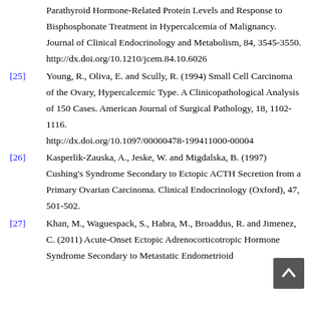Parathyroid Hormone-Related Protein Levels and Response to Bisphosphonate Treatment in Hypercalcemia of Malignancy. Journal of Clinical Endocrinology and Metabolism, 84, 3545-3550. http://dx.doi.org/10.1210/jcem.84.10.6026
[25] Young, R., Oliva, E. and Scully, R. (1994) Small Cell Carcinoma of the Ovary, Hypercalcemic Type. A Clinicopathological Analysis of 150 Cases. American Journal of Surgical Pathology, 18, 1102-1116. http://dx.doi.org/10.1097/00000478-199411000-00004
[26] Kasperlik-Zauska, A., Jeske, W. and Migdalska, B. (1997) Cushing's Syndrome Secondary to Ectopic ACTH Secretion from a Primary Ovarian Carcinoma. Clinical Endocrinology (Oxford), 47, 501-502.
[27] Khan, M., Waguespack, S., Habra, M., Broaddus, R. and Jimenez, C. (2011) Acute-Onset Ectopic Adrenocorticotropic Hormone Syndrome Secondary to Metastatic Endometrioid...